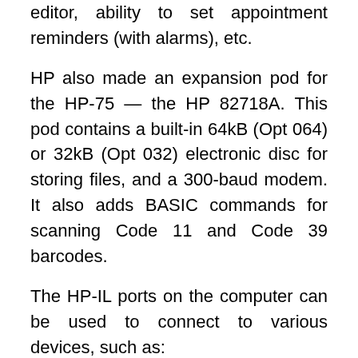editor, ability to set appointment reminders (with alarms), etc.
HP also made an expansion pod for the HP-75 — the HP 82718A. This pod contains a built-in 64kB (Opt 064) or 32kB (Opt 032) electronic disc for storing files, and a 300-baud modem. It also adds BASIC commands for scanning Code 11 and Code 39 barcodes.
The HP-IL ports on the computer can be used to connect to various devices, such as:
HP 82161A Digital Cassette Drive
HP 82162A Thermal Printer
HP 82163A Video Interface
HP 82164A RS232 Interface
HP 82169A HP-IB Interface
HP 9114 floppy drive
various HP instruments with HP-IL